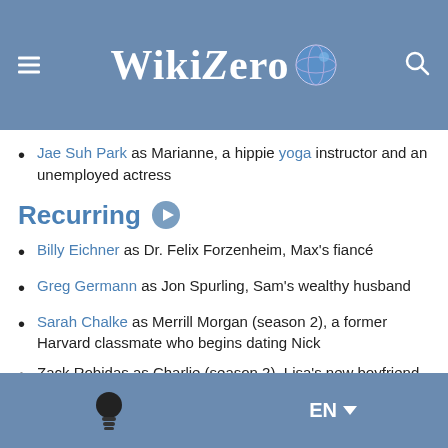WikiZero
Jae Suh Park as Marianne, a hippie yoga instructor and an unemployed actress
Recurring
Billy Eichner as Dr. Felix Forzenheim, Max's fiancé
Greg Germann as Jon Spurling, Sam's wealthy husband
Sarah Chalke as Merrill Morgan (season 2), a former Harvard classmate who begins dating Nick
Zack Robidas as Charlie (season 2), Lisa's new boyfriend
Guest
Ike Barinholtz as Degrasso, an obnoxious coworker at Lisa's
EN